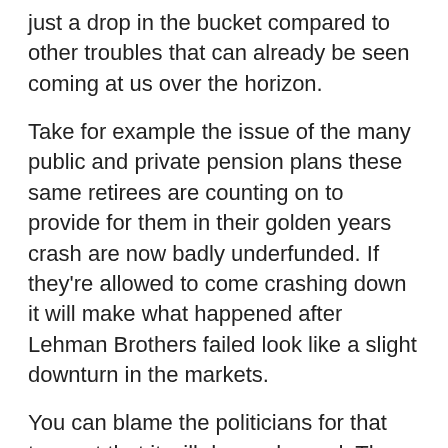just a drop in the bucket compared to other troubles that can already be seen coming at us over the horizon.
Take for example the issue of the many public and private pension plans these same retirees are counting on to provide for them in their golden years crash are now badly underfunded. If they're allowed to come crashing down it will make what happened after Lehman Brothers failed look like a slight downturn in the markets.
You can blame the politicians for that too, not that it will do much good. The plans they created and authorized, in Washington and at the state level and for employees in the private sector were masterpieces of wealth concentration controlled by so-called experts who keep it all safe for later.
We know now it wasn't true. These plans have been abused and raided for decades, more than once leaving